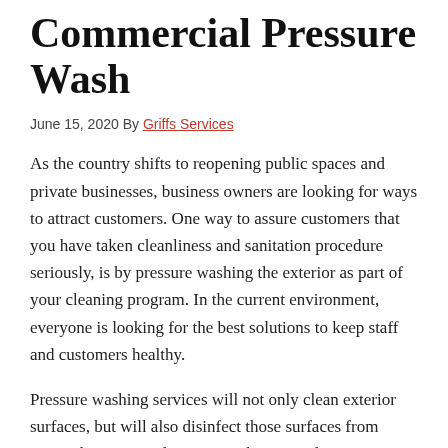Commercial Pressure Wash
June 15, 2020 By Griffs Services
As the country shifts to reopening public spaces and private businesses, business owners are looking for ways to attract customers. One way to assure customers that you have taken cleanliness and sanitation procedure seriously, is by pressure washing the exterior as part of your cleaning program. In the current environment, everyone is looking for the best solutions to keep staff and customers healthy.
Pressure washing services will not only clean exterior surfaces, but will also disinfect those surfaces from germs, bacteria, and viruses such as Covid-19. Here are 3 more reasons you should consider a commercial pressure washing company before reopening your business during the